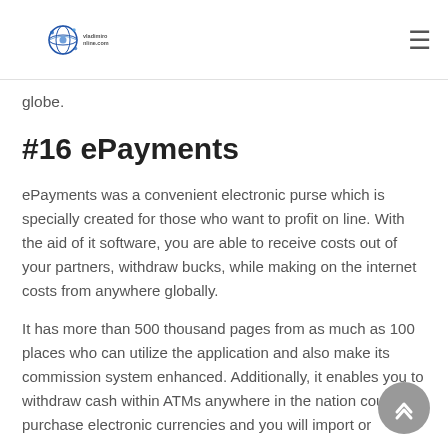vladimirsonline.com
globe.
#16 ePayments
ePayments was a convenient electronic purse which is specially created for those who want to profit on line. With the aid of it software, you are able to receive costs out of your partners, withdraw bucks, while making on the internet costs from anywhere globally.
It has more than 500 thousand pages from as much as 100 places who can utilize the application and also make its commission system enhanced. Additionally, it enables you to withdraw cash within ATMs anywhere in the nation could purchase electronic currencies and you will import or